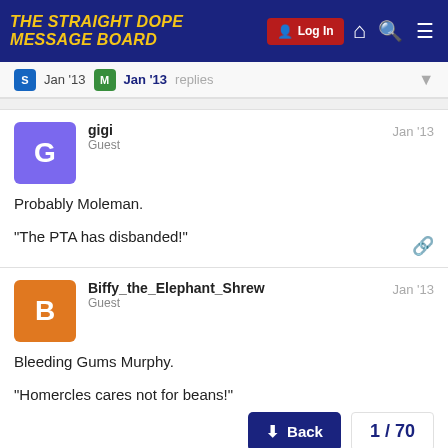THE STRAIGHT DOPE MESSAGE BOARD
S Jan '13  M Jan '13  replies
gigi  Guest  Jan '13
Probably Moleman.
"The PTA has disbanded!"
Biffy_the_Elephant_Shrew  Guest  Jan '13
Bleeding Gums Murphy.
"Homercles cares not for beans!"